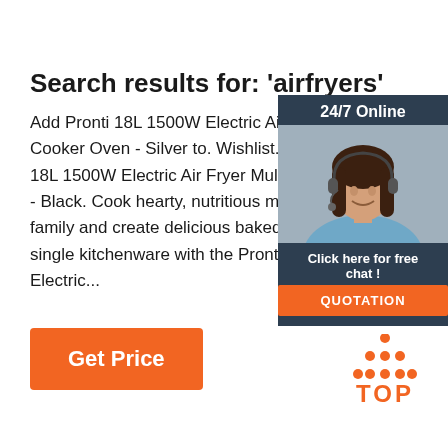Search results for: 'airfryers'
Add Pronti 18L 1500W Electric Air Fryer Multi Cooker Oven - Silver to. Wishlist. $295 18L 1500W Electric Air Fryer Multi Cooker - Black. Cook hearty, nutritious meals for family and create delicious baked goods in a single kitchenware with the Pronti 18L Electric...
[Figure (infographic): Advertisement box with dark navy background. Shows '24/7 Online' text, a photo of a woman wearing a headset (customer service representative), 'Click here for free chat!' text, and an orange 'QUOTATION' button.]
[Figure (infographic): Orange 'Get Price' button on the left side.]
[Figure (logo): TOP logo with orange dots arranged in a triangle above the word TOP in orange letters.]